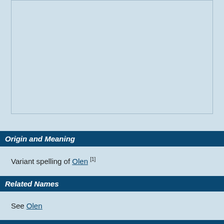[Figure (other): Large light blue empty box, likely a placeholder for an image]
Origin and Meaning
Variant spelling of Olen [1]
Related Names
See Olen